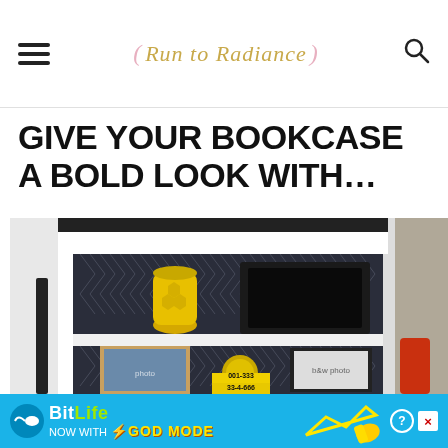Run to Radiance
GIVE YOUR BOOKCASE A BOLD LOOK WITH...
[Figure (photo): White bookcase with dark herringbone patterned back panel, decorated with a yellow vase, a black laptop/bag, framed family photos, a small golden globe, and a yellow number block reading 001-333 / 33-4-666. Red cup visible on the right edge.]
[Figure (screenshot): Advertisement banner for BitLife app: 'NOW WITH GOD MODE' on a blue background with lightning bolt and hand pointing graphic.]